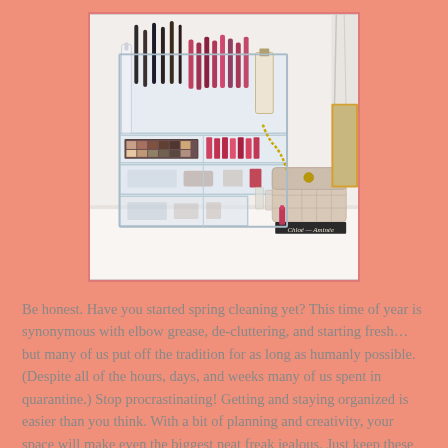[Figure (photo): A clear acrylic makeup organizer with multiple drawers and compartments filled with cosmetics including lipsticks, brushes, and eyeshadow palettes. A beige quilted handbag and a book labeled 'Chloé' are visible on the right side.]
Be honest. Have you started spring cleaning yet? This time of year is synonymous with elbow grease, de-cluttering, and starting fresh…but many of us put off the tradition for as long as humanly possible. (Despite all of the hours, days, and weeks many of us spent in quarantine.) Stop procrastinating! Getting and staying organized is easier than you think. With a bit of planning and creativity, your space will make even the biggest neat freak jealous. Just keep these handy tips and tricks in mind.